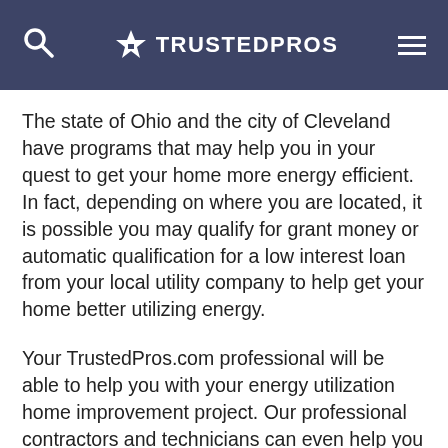TRUSTEDPROS
The state of Ohio and the city of Cleveland have programs that may help you in your quest to get your home more energy efficient. In fact, depending on where you are located, it is possible you may qualify for grant money or automatic qualification for a low interest loan from your local utility company to help get your home better utilizing energy.
Your TrustedPros.com professional will be able to help you with your energy utilization home improvement project. Our professional contractors and technicians can even help you with finding potential sources of grants and low interest loans to finance the home improvement.
You are the BOSS on TrustedPros.com
As a project owner on TrustedPros.com, you have full